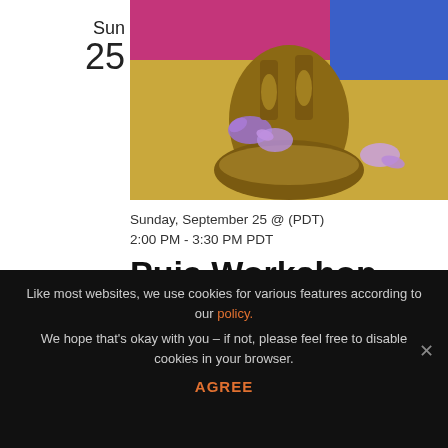Sun
25
[Figure (photo): Photo of a bronze/golden Hindu statue base with purple flowers, placed on a yellow cloth surface with pink/magenta fabric in the background]
Sunday, September 25 @ (PDT)
2:00 PM - 3:30 PM PDT
Puja Workshop
3741 West 27th Street, Los
Like most websites, we use cookies for various features according to our policy.
We hope that's okay with you – if not, please feel free to disable cookies in your browser.
AGREE